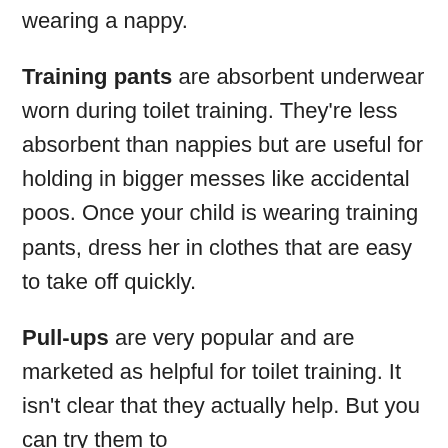wearing a nappy.
Training pants are absorbent underwear worn during toilet training. They're less absorbent than nappies but are useful for holding in bigger messes like accidental poos. Once your child is wearing training pants, dress her in clothes that are easy to take off quickly.
Pull-ups are very popular and are marketed as helpful for toilet training. It isn't clear that they actually help. But you can try them to help your child manage the transition.